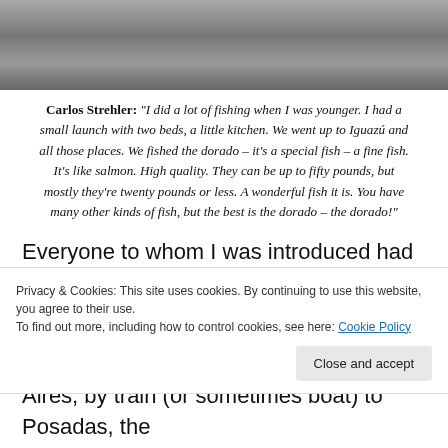[Figure (photo): Black and white photograph showing people outdoors, cropped at top of page]
Carlos Strehler: "I did a lot of fishing when I was younger. I had a small launch with two beds, a little kitchen. We went up to Iguazú and all those places. We fished the dorado – it's a special fish – a fine fish. It's like salmon. High quality. They can be up to fifty pounds, but mostly they're twenty pounds or less. A wonderful fish it is. You have many other kinds of fish, but the best is the dorado – the dorado!"
Everyone to whom I was introduced had a unique story explaining how they had ended up in Misiones, a place that in the early part of the 20th century was a remote, forest-covered, sub-
Privacy & Cookies: This site uses cookies. By continuing to use this website, you agree to their use.
To find out more, including how to control cookies, see here: Cookie Policy
Aires; by train (or sometimes boat) to Posadas, the